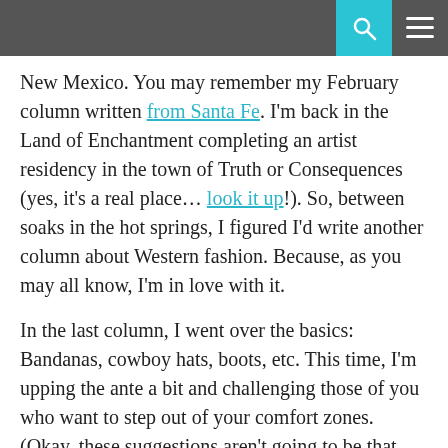New Mexico. You may remember my February column written from Santa Fe. I'm back in the Land of Enchantment completing an artist residency in the town of Truth or Consequences (yes, it's a real place… look it up!). So, between soaks in the hot springs, I figured I'd write another column about Western fashion. Because, as you may all know, I'm in love with it.
In the last column, I went over the basics: Bandanas, cowboy hats, boots, etc. This time, I'm upping the ante a bit and challenging those of you who want to step out of your comfort zones. (Okay, these suggestions aren't going to be that crazy, but give me some points for dramatics)
FRINGE
You know… the strings that hang down, not the sci-fi TV show. To be perfectly honest, this one is more for the ladies than it is for the men of...